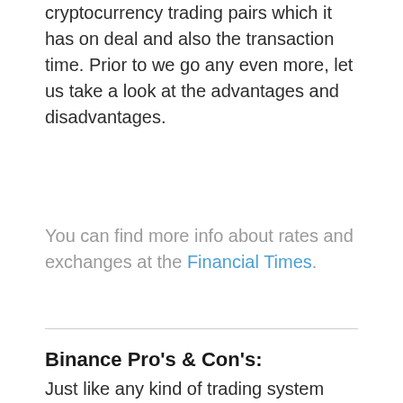cryptocurrency trading pairs which it has on deal and also the transaction time. Prior to we go any even more, let us take a look at the advantages and disadvantages.
You can find more info about rates and exchanges at the Financial Times.
Binance Pro's & Con's:
Just like any kind of trading system there is the assets as well as negative factors. We have provided you some of the Advantages and